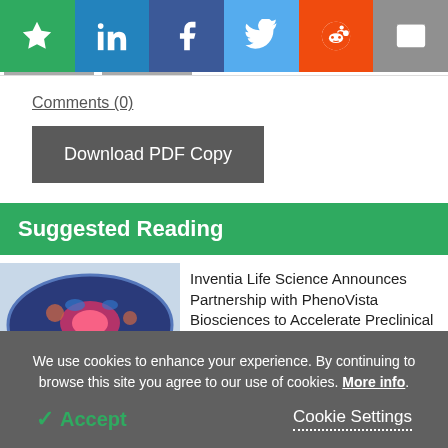[Figure (other): Social sharing toolbar with star/bookmark (green), LinkedIn (blue), Facebook (dark blue), Twitter (light blue), Reddit (orange), and email (grey) buttons]
Comments (0)
Download PDF Copy
Suggested Reading
[Figure (illustration): Illustrated animal cell diagram with blue cell membrane, pink nucleus, and colorful organelles]
Inventia Life Science Announces Partnership with PhenoVista Biosciences to Accelerate Preclinical Research with 3D Cell Model...
We use cookies to enhance your experience. By continuing to browse this site you agree to our use of cookies. More info.
✓ Accept
Cookie Settings